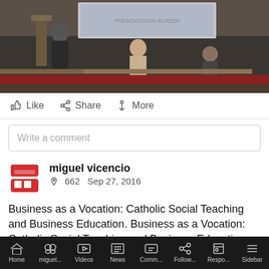[Figure (photo): Video thumbnail showing people in a lecture/conference room with a projection screen in the background]
👍 Like   🔗 Share   ➕ More
Write a comment
miguel vicencio
🔁 662   Sep 27, 2016
Business as a Vocation: Catholic Social Teaching and Business Education. Business as a Vocation: Catholic Social Teaching and Business Education   More
[Figure (screenshot): Video preview showing black and white religious artwork figures with a play button overlay and timestamp 01:11:48]
Home   miguel...   Videos   News   Comm...   Follow...   Respo...   Sidebar